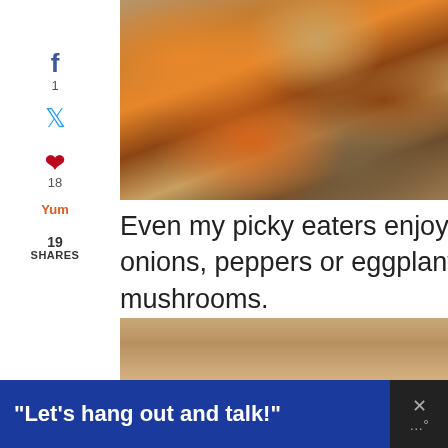[Figure (photo): Food skewers/kebabs with colorful vegetables and tofu on a baking tray]
Even my picky eaters enjoyed it (my little guy would not eat the onions, peppers or eggplant). But he ate the tofu and the mushrooms.
[Figure (photo): Close-up of food item, partially visible]
“Let’s hang out and talk!”